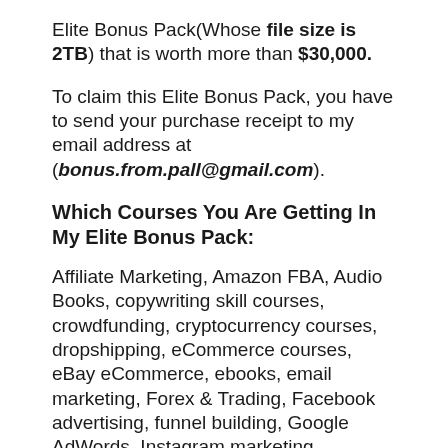Elite Bonus Pack(Whose file size is 2TB) that is worth more than $30,000.
To claim this Elite Bonus Pack, you have to send your purchase receipt to my email address at (bonus.from.pall@gmail.com).
Which Courses You Are Getting In My Elite Bonus Pack:
Affiliate Marketing, Amazon FBA, Audio Books, copywriting skill courses, crowdfunding, cryptocurrency courses, dropshipping, eCommerce courses, eBay eCommerce, ebooks, email marketing, Forex & Trading, Facebook advertising, funnel building, Google AdWords, Instagram marketing, investment and credit, self-